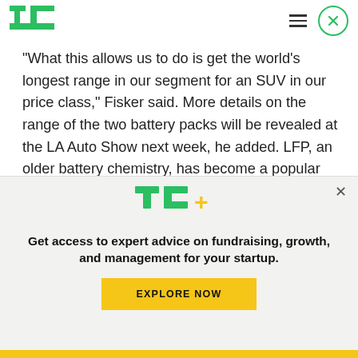TechCrunch logo with hamburger menu and close button
“What this allows us to do is get the world’s longest range in our segment for an SUV in our price class,” Fisker said. More details on the range of the two battery packs will be revealed at the LA Auto Show next week, he added. LFP, an older battery chemistry, has become a popular lower-cost option amongst companies, including Tesla, which said it
[Figure (logo): TC+ logo (TechCrunch Plus) in green and yellow]
Get access to expert advice on fundraising, growth, and management for your startup.
EXPLORE NOW